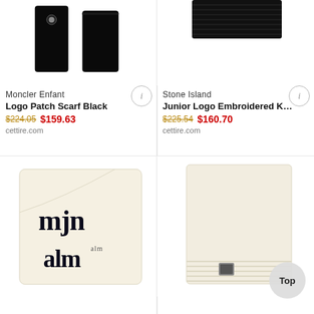[Figure (photo): Moncler Enfant Logo Patch Scarf in black, shown as two folded black gloves/scarves with logo badge]
Moncler Enfant
Logo Patch Scarf Black
$224.05 $159.63
cettire.com
[Figure (photo): Stone Island Junior Logo Embroidered knit item in black, ribbed texture visible at top]
Stone Island
Junior Logo Embroidered K...
$225.54 $160.70
cettire.com
[Figure (photo): Palm Angels cream/off-white scarf folded showing gothic 'alm' lettering repeated in navy]
[Figure (photo): Cream/off-white ribbed knit item with small label visible, partially obscured by Top button]